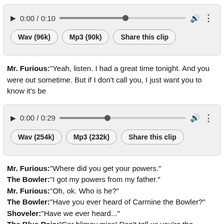[Figure (screenshot): Audio player 1 with play button, time 0:00 / 0:10, progress bar, volume icon, menu dots]
Wav (96k)   Mp3 (90k)   Share this clip
Mr. Furious:"Yeah, listen. I had a great time tonight. And you were out sometime. But if I don't call you, I just want you to know it's be...
[Figure (screenshot): Audio player 2 with play button, time 0:00 / 0:29, progress bar, volume icon, menu dots]
Wav (254k)   Mp3 (232k)   Share this clip
Mr. Furious:"Where did you get your powers."
The Bowler:"I got my powers from my father."
Mr. Furious:"Oh, ok. Who is he?"
The Bowler:"Have you ever heard of Carmine the Bowler?"
Shoveler:"Have we ever heard..."
The Blue Raja:"Cor blimey miss! Don't tell us you're the Bowler's
Mr. Furious:"Seem to remember there being a little controversy aro
The Bowler:"That's right. The police said it was an accident. He h